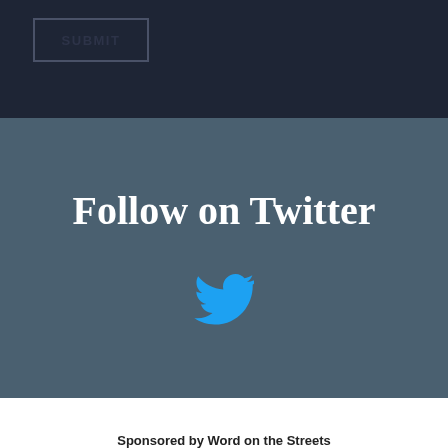[Figure (screenshot): SUBMIT button with dark border on dark navy background]
Follow on Twitter
[Figure (logo): Twitter bird logo in blue]
Sponsored by Word on the Streets